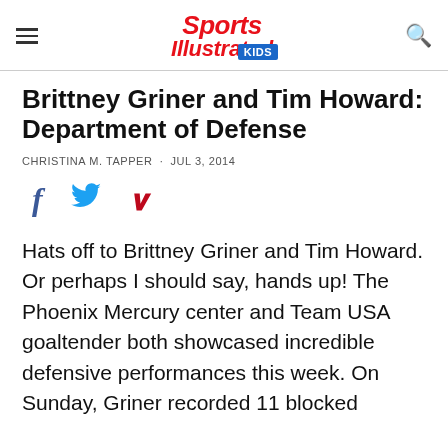Sports Illustrated Kids
Brittney Griner and Tim Howard: Department of Defense
CHRISTINA M. TAPPER · JUL 3, 2014
[Figure (infographic): Social sharing icons: Facebook (f), Twitter (bird), Pinterest (p)]
Hats off to Brittney Griner and Tim Howard. Or perhaps I should say, hands up! The Phoenix Mercury center and Team USA goaltender both showcased incredible defensive performances this week. On Sunday, Griner recorded 11 blocked